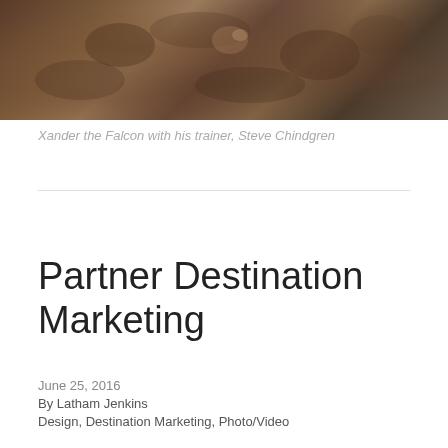[Figure (photo): Close-up photograph of a falcon with brown and speckled feathers, perched or held with natural debris/ground in background. Dark earthy tones.]
Xander the Falcon with his trainer, Steve Chindgren
Partner Destination Marketing
June 25, 2016
By Latham Jenkins
Design, Destination Marketing, Photo/Video